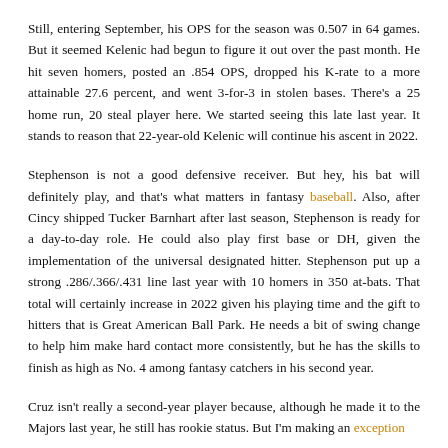Still, entering September, his OPS for the season was 0.507 in 64 games. But it seemed Kelenic had begun to figure it out over the past month. He hit seven homers, posted an .854 OPS, dropped his K-rate to a more attainable 27.6 percent, and went 3-for-3 in stolen bases. There's a 25 home run, 20 steal player here. We started seeing this late last year. It stands to reason that 22-year-old Kelenic will continue his ascent in 2022.
Stephenson is not a good defensive receiver. But hey, his bat will definitely play, and that's what matters in fantasy baseball. Also, after Cincy shipped Tucker Barnhart after last season, Stephenson is ready for a day-to-day role. He could also play first base or DH, given the implementation of the universal designated hitter. Stephenson put up a strong .286/.366/.431 line last year with 10 homers in 350 at-bats. That total will certainly increase in 2022 given his playing time and the gift to hitters that is Great American Ball Park. He needs a bit of swing change to help him make hard contact more consistently, but he has the skills to finish as high as No. 4 among fantasy catchers in his second year.
Cruz isn't really a second-year player because, although he made it to the Majors last year, he still has rookie status. But I'm making an exception...